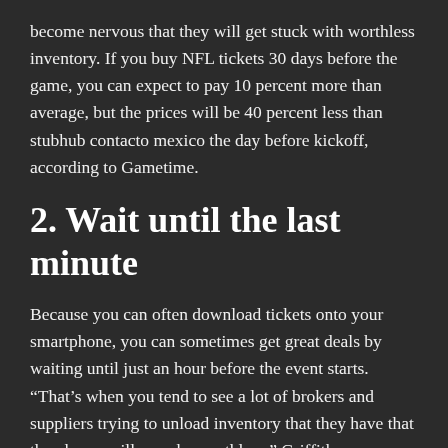become nervous that they will get stuck with worthless inventory. If you buy NFL tickets 30 days before the game, you can expect to pay 10 percent more than average, but the prices will be 40 percent less than stubhub contacto mexico the day before kickoff, according to Gametime.
2. Wait until the last minute
Because you can often download tickets onto your smartphone, you can sometimes get great deals by waiting until just an hour before the event starts. “That’s when you tend to see a lot of brokers and suppliers trying to unload inventory that they have that they know will soon be worthless,” Griffith says.
Buy from a reputable ticket reseller, rather than some guy in front of the concert hall or stadium, who may be selling